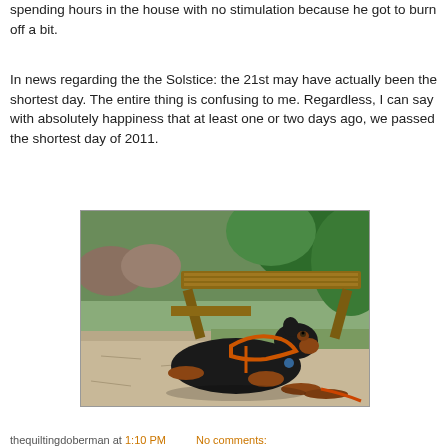spending hours in the house with no stimulation because he got to burn off a bit.
In news regarding the the Solstice: the 21st may have actually been the shortest day. The entire thing is confusing to me. Regardless, I can say with absolutely happiness that at least one or two days ago, we passed the shortest day of 2011.
[Figure (photo): A black and tan Doberman dog lying on a gravel path in front of a wooden picnic bench, with trees and green foliage in the background. The dog is wearing an orange harness/leash.]
thequiltingdoberman at 1:10 PM    No comments: